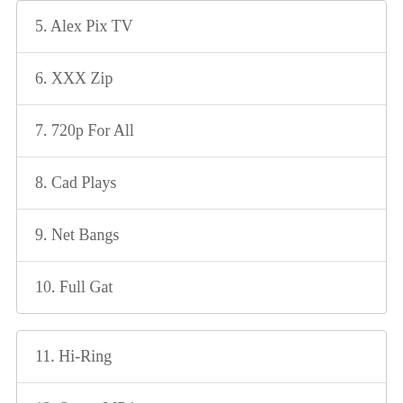5. Alex Pix TV
6. XXX Zip
7. 720p For All
8. Cad Plays
9. Net Bangs
10. Full Gat
11. Hi-Ring
12. Sweet MP4
13. OOO-Sex HD Video
14. Her Flesh HD
15. Wife Pl…